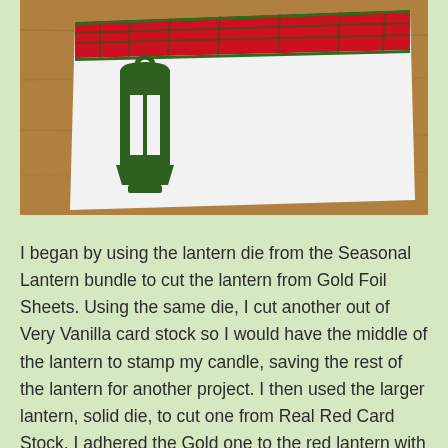[Figure (photo): Photograph of a Christmas card craft project showing a white card with a green die-cut lantern on the left side, and a red plaid banner at the top, lying on a wooden surface.]
I began by using the lantern die from the Seasonal Lantern bundle to cut the lantern from Gold Foil Sheets. Using the same die, I cut another out of Very Vanilla card stock so I would have the middle of the lantern to stamp my candle, saving the rest of the lantern for another project. I then used the larger lantern, solid die, to cut one from Real Red Card Stock. I adhered the Gold one to the red lantern with